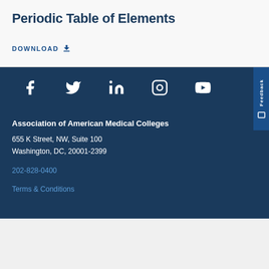Periodic Table of Elements
DOWNLOAD
[Figure (infographic): Social media icons: Facebook, Twitter, LinkedIn, Instagram, YouTube]
Association of American Medical Colleges
655 K Street, NW, Suite 100
Washington, DC, 20001-2399
202-828-0400
Terms & Conditions